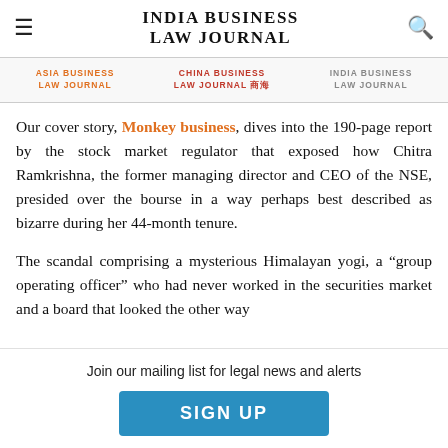INDIA BUSINESS LAW JOURNAL
[Figure (logo): Navigation bar with three journal logos: Asia Business Law Journal (orange), China Business Law Journal (red with Chinese characters), India Business Law Journal (gray)]
Our cover story, Monkey business, dives into the 190-page report by the stock market regulator that exposed how Chitra Ramkrishna, the former managing director and CEO of the NSE, presided over the bourse in a way perhaps best described as bizarre during her 44-month tenure.
The scandal comprising a mysterious Himalayan yogi, a “group operating officer” who had never worked in the securities market and a board that looked the other way
Join our mailing list for legal news and alerts
SIGN UP